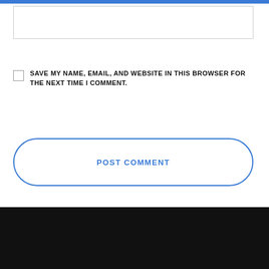[text input box]
SAVE MY NAME, EMAIL, AND WEBSITE IN THIS BROWSER FOR THE NEXT TIME I COMMENT.
POST COMMENT
USEFUL LINKS
Home
Blog
Privacy policy
Terms and conditions